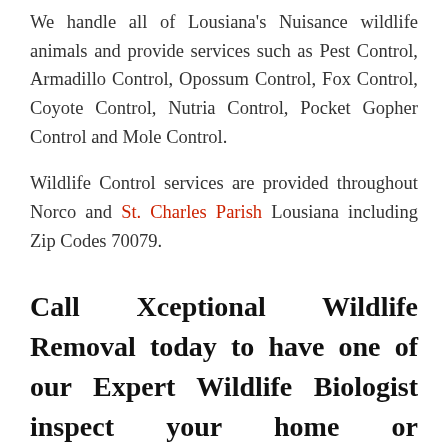We handle all of Lousiana's Nuisance wildlife animals and provide services such as Pest Control, Armadillo Control, Opossum Control, Fox Control, Coyote Control, Nutria Control, Pocket Gopher Control and Mole Control.
Wildlife Control services are provided throughout Norco and St. Charles Parish Lousiana including Zip Codes 70079.
Call Xceptional Wildlife Removal today to have one of our Expert Wildlife Biologist inspect your home or business!!